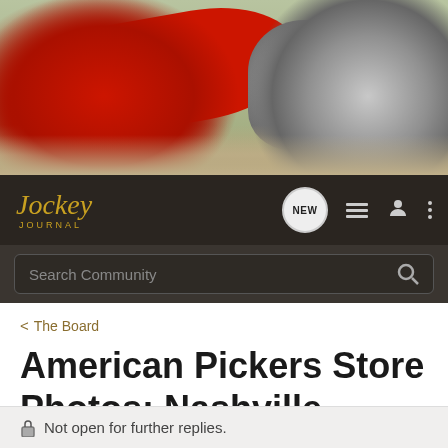[Figure (photo): Close-up photo of a red vintage motorcycle (Indian or Harley-Davidson style) with chrome engine details, spoke wheel, and dry ground background]
[Figure (logo): Jockey Journal logo in gold italic script with 'JOURNAL' in small caps below, on dark background]
Search Community
< The Board
American Pickers Store Photos: Nashville
→ Jump to Latest
+ Follow
Not open for further replies.